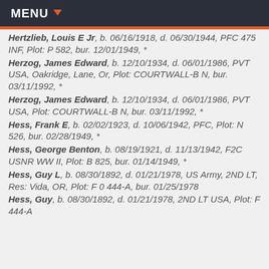MENU
Hertzlieb, Louis E Jr, b. 06/16/1918, d. 06/30/1944, PFC 475 INF, Plot: P 582, bur. 12/01/1949, *
Herzog, James Edward, b. 12/10/1934, d. 06/01/1986, PVT USA, Oakridge, Lane, Or, Plot: COURTWALL-B N, bur. 03/11/1992, *
Herzog, James Edward, b. 12/10/1934, d. 06/01/1986, PVT USA, Plot: COURTWALL-B N, bur. 03/11/1992, *
Hess, Frank E, b. 02/02/1923, d. 10/06/1942, PFC, Plot: N 526, bur. 02/28/1949, *
Hess, George Benton, b. 08/19/1921, d. 11/13/1942, F2C USNR WW II, Plot: B 825, bur. 01/14/1949, *
Hess, Guy L, b. 08/30/1892, d. 01/21/1978, US Army, 2ND LT, Res: Vida, OR, Plot: F 0 444-A, bur. 01/25/1978
Hess, Guy, b. 08/30/1892, d. 01/21/1978, 2ND LT USA, Plot: F 444-A...